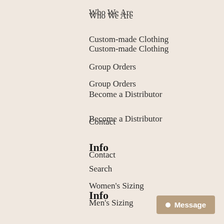Who We Are
Custom-made Clothing
Group Orders
Become a Distributor
Contact
Info
Search
Women's Sizing
Men's Sizing
Payments & Shipping
Return Policy
Terms & Conditions
Privacy Policy
FAQ